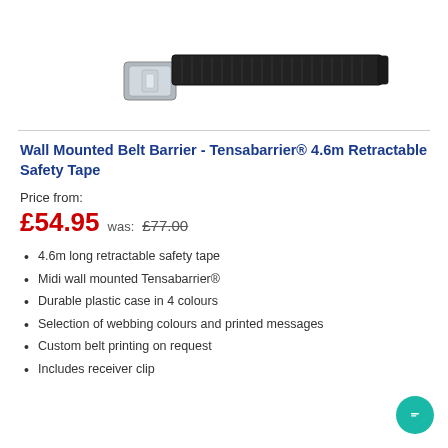[Figure (photo): Wall mounted belt barrier / Tensabarrier product photo showing black retractable belt unit mounted on wall with chrome fittings, viewed from the side.]
Wall Mounted Belt Barrier - Tensabarrier® 4.6m Retractable Safety Tape
Price from:
£54.95  was: £77.00
4.6m long retractable safety tape
Midi wall mounted Tensabarrier®
Durable plastic case in 4 colours
Selection of webbing colours and printed messages
Custom belt printing on request
Includes receiver clip